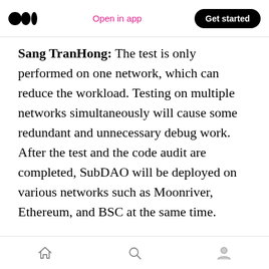Open in app | Get started
Sang TranHong: The test is only performed on one network, which can reduce the workload. Testing on multiple networks simultaneously will cause some redundant and unnecessary debug work. After the test and the code audit are completed, SubDAO will be deployed on various networks such as Moonriver, Ethereum, and BSC at the same time.
Last month, SubDAO was selected for the BNB IV incubation program and got much support
Home | Search | Profile